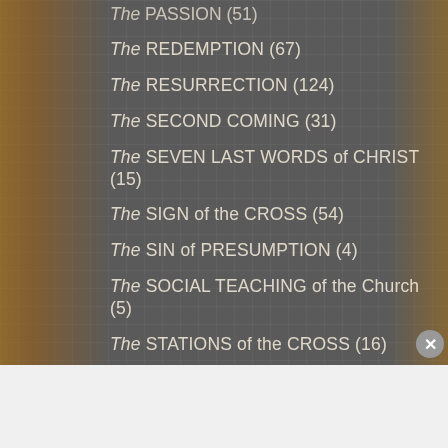The PASSION (51)
The REDEMPTION (67)
The RESURRECTION (124)
The SECOND COMING (31)
The SEVEN LAST WORDS of CHRIST (15)
The SIGN of the CROSS (54)
The SIN of PRESUMPTION (4)
The SOCIAL TEACHING of the Church (5)
The STATIONS of the CROSS (16)
The TEN COMMANDMENTS (11)
The TRANSFIGURATION (32)
Advertisements
[Figure (other): Ulta beauty advertisement banner showing makeup images and SHOP NOW button]